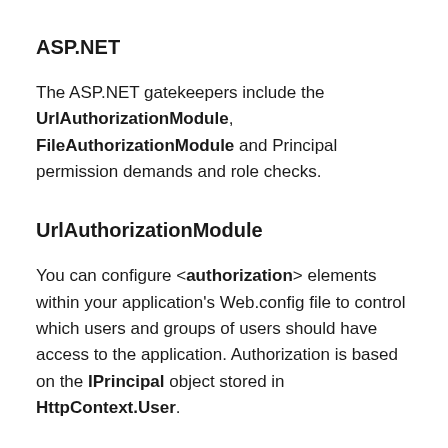ASP.NET
The ASP.NET gatekeepers include the UrlAuthorizationModule, FileAuthorizationModule and Principal permission demands and role checks.
UrlAuthorizationModule
You can configure <authorization> elements within your application's Web.config file to control which users and groups of users should have access to the application. Authorization is based on the IPrincipal object stored in HttpContext.User.
FileAuthorizationModule
For file types mapped by IIS to the ASP.NET ISAPI extension